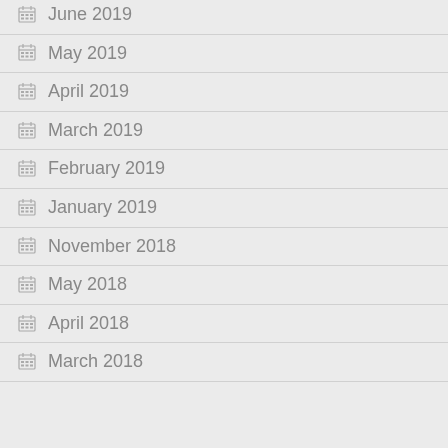June 2019
May 2019
April 2019
March 2019
February 2019
January 2019
November 2018
May 2018
April 2018
March 2018